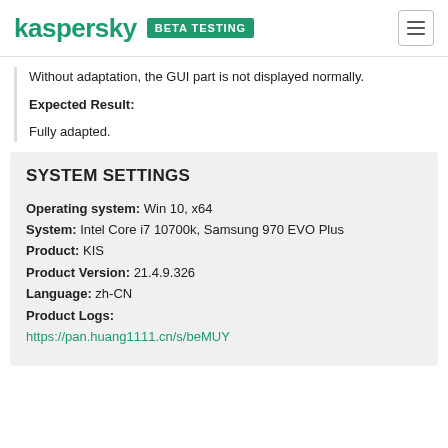kaspersky BETA TESTING
Without adaptation, the GUI part is not displayed normally.
Expected Result:
Fully adapted.
SYSTEM SETTINGS
Operating system: Win 10, x64
System: Intel Core i7 10700k, Samsung 970 EVO Plus
Product: KIS
Product Version: 21.4.9.326
Language: zh-CN
Product Logs:
https://pan.huang1111.cn/s/beMUY